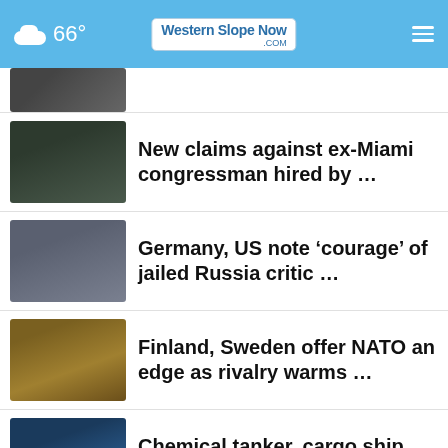66° Western Slope Now .com
New claims against ex-Miami congressman hired by …
Germany, US note ‘courage’ of jailed Russia critic …
Finland, Sweden offer NATO an edge as rivalry warms …
Chemical tanker, cargo ship crash near southwestern …
Pro-Trump wins in blue states threaten GOP hopes …
Pence says he didn’t leave office with classified …